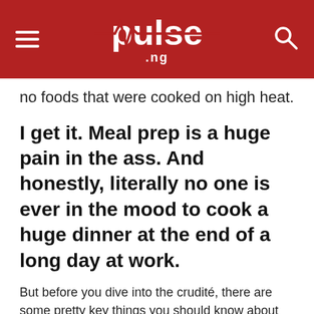pulse.ng
no foods that were cooked on high heat.
I get it. Meal prep is a huge pain in the ass. And honestly, literally no one is ever in the mood to cook a huge dinner at the end of a long day at work.
But before you dive into the crudité, there are some pretty key things you should know about this majorly-hyped diet.
Okay, I'll bite: What is the raw food diet?